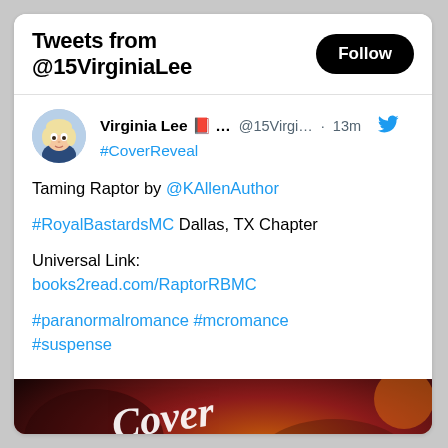Tweets from @15VirginiaLee
Virginia Lee 📕… @15Virgi… · 13m
#CoverReveal

Taming Raptor by @KAllenAuthor

#RoyalBastardsMC Dallas, TX Chapter

Universal Link:
books2read.com/RaptorRBMC

#paranormalromance #mcromance
#suspense
[Figure (photo): Cover reveal image with dark red/orange background and stylized 'Cover Reveal' text in white cursive, partially cropped at bottom]